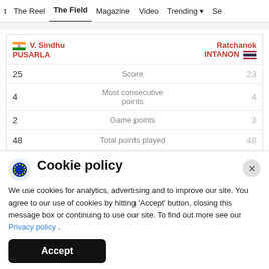t  The Reel  The Field  Magazine  Video  Trending  Se
| V. Sindhu PUSARLA |  | Ratchanok INTANON |
| --- | --- | --- |
| 25 | Score | 23 |
| 4 | Most consecutive points | 4 |
| 2 | Game points | 3 |
| 48 | Total points played | 48 |
| 25 | Total points won | 23 |
Cookie policy
We use cookies for analytics, advertising and to improve our site. You agree to our use of cookies by hitting 'Accept' button, closing this message box or continuing to use our site. To find out more see our Privacy policy .